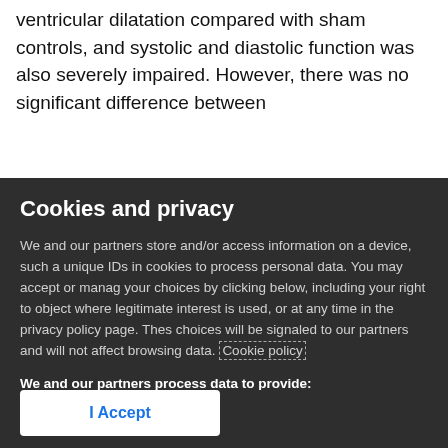ventricular dilatation compared with sham controls, and systolic and diastolic function was also severely impaired. However, there was no significant difference between
Cookies and privacy
We and our partners store and/or access information on a device, such as unique IDs in cookies to process personal data. You may accept or manage your choices by clicking below, including your right to object where legitimate interest is used, or at any time in the privacy policy page. These choices will be signaled to our partners and will not affect browsing data. Cookie policy
We and our partners process data to provide:
Store and/or access information on a device, Personalised ads and content, ad and content measurement, audience insights and product development, Use precise geolocation data, Actively scan device characteristics for identification
List of Partners (vendors)
I Accept